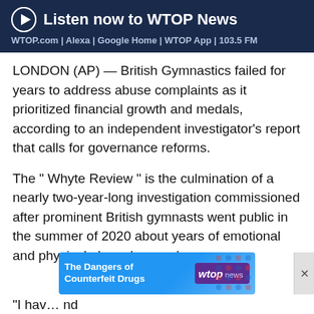[Figure (other): WTOP News audio banner with play button icon, title 'Listen now to WTOP News', and subtitle 'WTOP.com | Alexa | Google Home | WTOP App | 103.5 FM' on dark navy background]
LONDON (AP) — British Gymnastics failed for years to address abuse complaints as it prioritized financial growth and medals, according to an independent investigator's report that calls for governance reforms.
The " Whyte Review " is the culmination of a nearly two-year-long investigation commissioned after prominent British gymnasts went public in the summer of 2020 about years of emotional and physical abuse by coaches.
[Figure (infographic): Advertisement banner for WTOP News: 'The Dangers of Counterfeit Drugs' with wtopnews logo and colorful dots pattern]
“I hav… nd